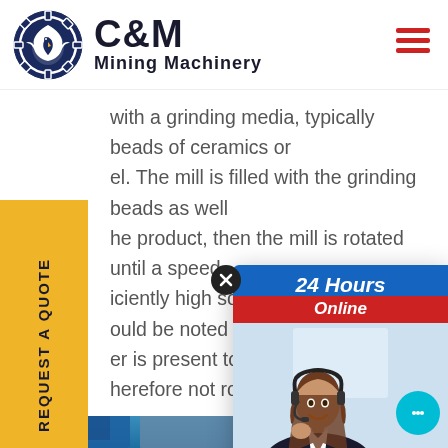[Figure (logo): C&M Mining Machinery logo with dark blue eagle/gear emblem and company name]
with a grinding media, typically beads of ceramics or el. The mill is filled with the grinding beads as well he product, then the mill is rotated until a speed iciently high so that the beads ould be noted that, in some ap er is present to agitate the be herefore not rotating.
[Figure (infographic): 24 Hours Online chat popup with customer service agent photo, chat bubble icon, Click to Chat and Enquiry buttons]
[Figure (photo): Industrial mining machinery/building exterior with blue sky background]